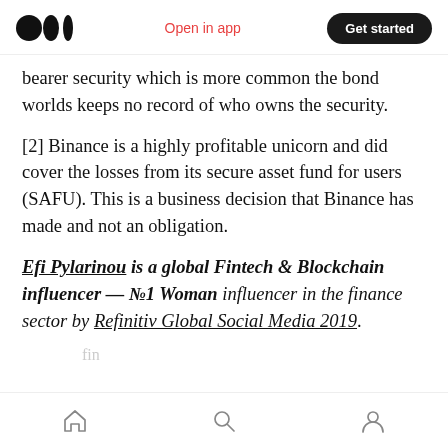Open in app | Get started
bearer security which is more common the bond worlds keeps no record of who owns the security.
[2] Binance is a highly profitable unicorn and did cover the losses from its secure asset fund for users (SAFU). This is a business decision that Binance has made and not an obligation.
Efi Pylarinou is a global Fintech & Blockchain influencer — №1 Woman influencer in the finance sector by Refinitiv Global Social Media 2019.
Home | Search | Profile